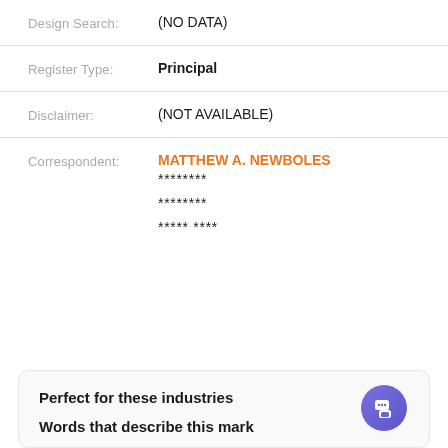Design Search: (NO DATA)
Register Type: Principal
Disclaimer: (NOT AVAILABLE)
Correspondent: MATTHEW A. NEWBOLES
********
********
***** ****
Perfect for these industries
Words that describe this mark